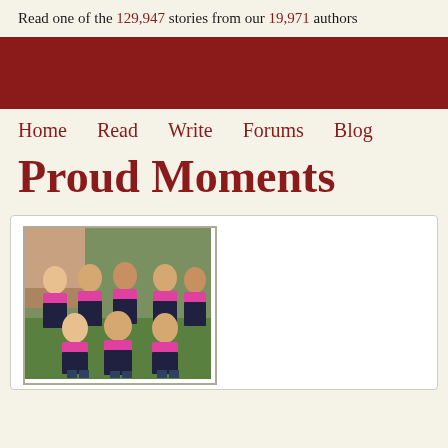Read one of the 129,947 stories from our 19,971 authors
[Figure (other): Red banner/header area of the website]
Home   Read   Write   Forums   Blog
Proud Moments
[Figure (photo): Group photo of women in pink and black athletic uniforms/leotards posing outdoors on grass]
By skinner_jennifer